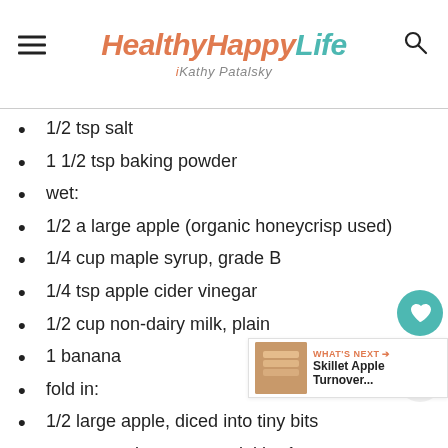HealthyHappyLife — Kathy Patalsky
1/2 tsp salt
1 1/2 tsp baking powder
wet:
1/2 a large apple (organic honeycrisp used)
1/4 cup maple syrup, grade B
1/4 tsp apple cider vinegar
1/2 cup non-dairy milk, plain
1 banana
fold in:
1/2 large apple, diced into tiny bits
on top – spice-sugar sprinkle: 1 tsp coconut